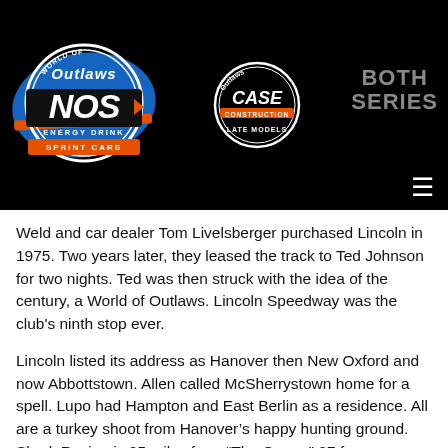[Figure (logo): World of Outlaws NOS Energy Drink Sprint Cars logo on black background, alongside World of Outlaws CASE Construction Late Models logo and 'BOTH SERIES' text with hamburger menu icon]
Weld and car dealer Tom Livelsberger purchased Lincoln in 1975. Two years later, they leased the track to Ted Johnson for two nights. Ted was then struck with the idea of the century, a World of Outlaws. Lincoln Speedway was the club's ninth stop ever.
Lincoln listed its address as Hanover then New Oxford and now Abbottstown. Allen called McSherrystown home for a spell. Lupo had Hampton and East Berlin as a residence. All are a turkey shoot from Hanover's happy hunting ground. Shark Racing is 25 miles from “The Grove,” 27 from Susquehanna, 58 from Hagerstown, 62 from Port Royal, and 83 miles from Selinsgrove.